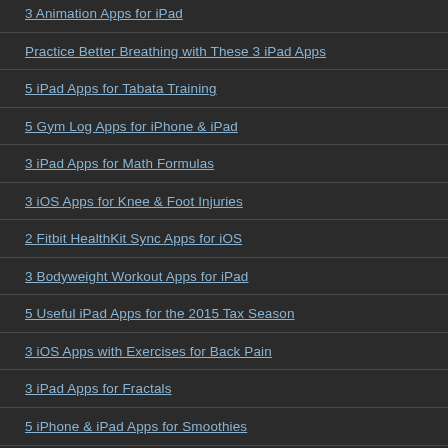3 Animation Apps for iPad
Practice Better Breathing with These 3 iPad Apps
5 iPad Apps for Tabata Training
5 Gym Log Apps for iPhone & iPad
3 iPad Apps for Math Formulas
3 iOS Apps for Knee & Foot Injuries
2 Fitbit HealthKit Sync Apps for iOS
3 Bodyweight Workout Apps for iPad
5 Useful iPad Apps for the 2015 Tax Season
3 iOS Apps with Exercises for Back Pain
3 iPad Apps for Fractals
5 iPhone & iPad Apps for Smoothies
Use Your iPad As a Second Display: 3 App